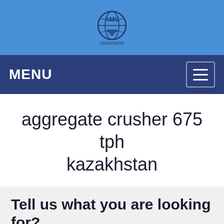[Figure (logo): AMC Global logo — globe icon with text AMC and 'Globcrusher' on blue background]
MENU
aggregate crusher 675 tph kazakhstan
Tell us what you are looking for?
Please fill in and submit the following form, our service team will contact you as soon as possible and provide a complete solution.